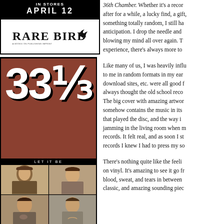[Figure (logo): Top black banner with 'IN STORES' and 'APRIL 12' text]
[Figure (logo): Rare Bird publisher logo with bird silhouette]
[Figure (illustration): 33 1/3 book series cover for Let It Be by The Beatles, with brown background, large white 33 1/3 numerals, Beatles photo grid below]
36th Chamber. Whether it's a record I've been after for a while, a lucky find, a gift, or something totally random, I still have that anticipation. I drop the needle and it starts blowing my mind all over again. That experience, there's always more to
Like many of us, I was heavily influ- to me in random formats in my ear- download sites, etc. were all good f- always thought the old school reco- The big cover with amazing artwor- somehow contains the music in its - that played the disc, and the way i- jamming in the living room when m- records. It felt real, and as soon I st- records I knew I had to press my so
There's nothing quite like the feeli- on vinyl. It's amazing to see it go fr- blood, sweat, and tears in between- classic, and amazing sounding piec